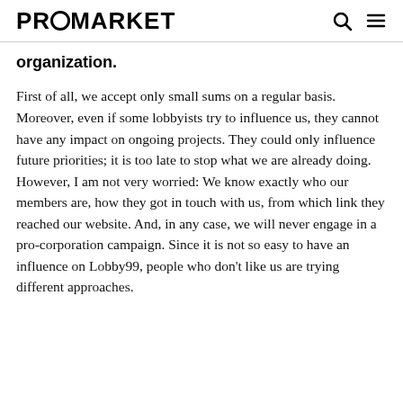PROMARKET
organization.
First of all, we accept only small sums on a regular basis. Moreover, even if some lobbyists try to influence us, they cannot have any impact on ongoing projects. They could only influence future priorities; it is too late to stop what we are already doing. However, I am not very worried: We know exactly who our members are, how they got in touch with us, from which link they reached our website. And, in any case, we will never engage in a pro-corporation campaign. Since it is not so easy to have an influence on Lobby99, people who don't like us are trying different approaches.